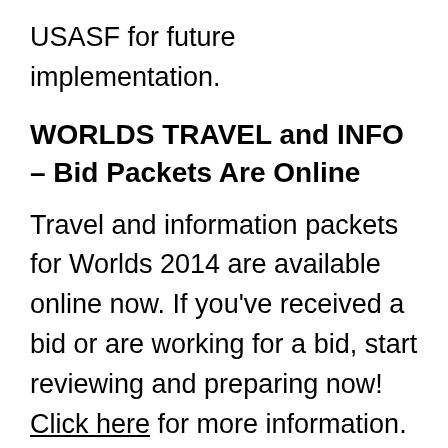USASF for future implementation.
WORLDS TRAVEL and INFO – Bid Packets Are Online
Travel and information packets for Worlds 2014 are available online now. If you've received a bid or are working for a bid, start reviewing and preparing now! Click here for more information.
WORLDS BID RECIPIENTS – Bid Watch is On!
The first Worlds bid giving event was held